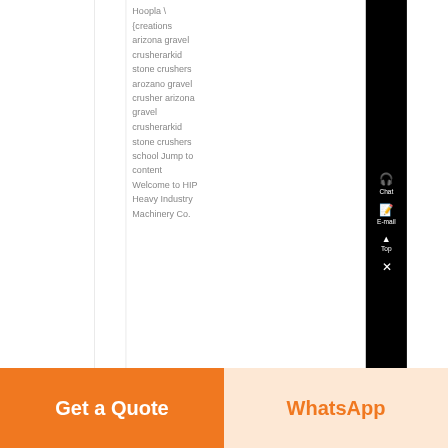Hoopla \ {creations arizona gravel crusherarkid stone crushers arozano gravel crusher arizona gravel crusherarkid stone crushers school Jump to content Welcome to HIP Heavy Industry Machinery Co.
[Figure (screenshot): Right sidebar with Chat, E-mail, and Top navigation buttons on black background]
Get a Quote
WhatsApp